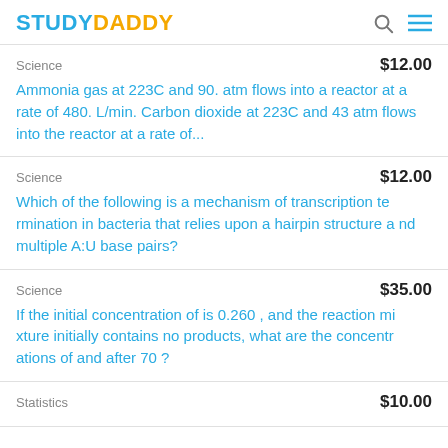STUDYDADDY
Science   $12.00
Ammonia gas at 223C and 90. atm flows into a reactor at a rate of 480. L/min. Carbon dioxide at 223C and 43 atm flows into the reactor at a rate of...
Science   $12.00
Which of the following is a mechanism of transcription termination in bacteria that relies upon a hairpin structure and multiple A:U base pairs?
Science   $35.00
If the initial concentration of is 0.260 , and the reaction mixture initially contains no products, what are the concentrations of and after 70 ?
Statistics   $10.00